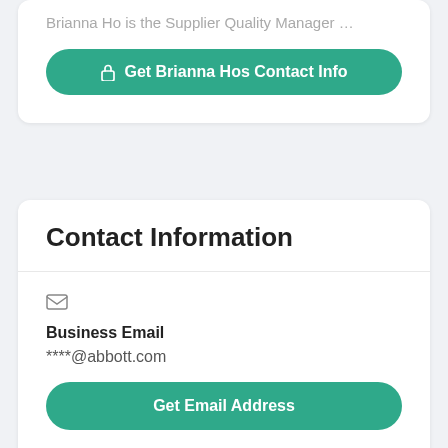Brianna Ho is the Supplier Quality Manager …
🔒 Get Brianna Hos Contact Info
Contact Information
Business Email
****@abbott.com
Get Email Address